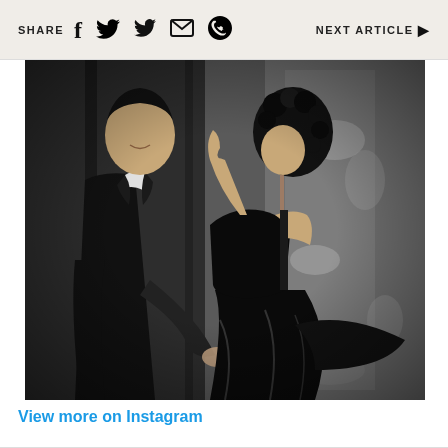SHARE  [facebook] [twitter] [email] [whatsapp]  NEXT ARTICLE ▶
[Figure (photo): Black and white photograph of a couple dancing or embracing. The man is in a dark suit and the woman is in a flowing black dress. They are close together, almost kissing, against a textured wall background.]
View more on Instagram